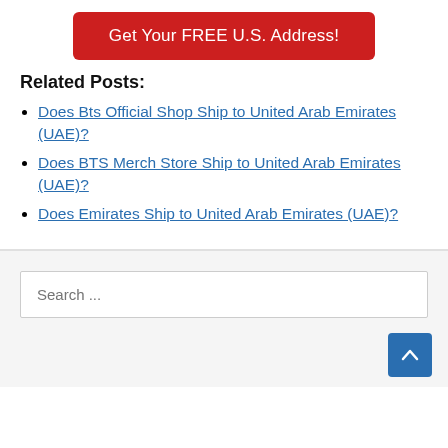[Figure (other): Red button with text 'Get Your FREE U.S. Address!']
Related Posts:
Does Bts Official Shop Ship to United Arab Emirates (UAE)?
Does BTS Merch Store Ship to United Arab Emirates (UAE)?
Does Emirates Ship to United Arab Emirates (UAE)?
Search ...